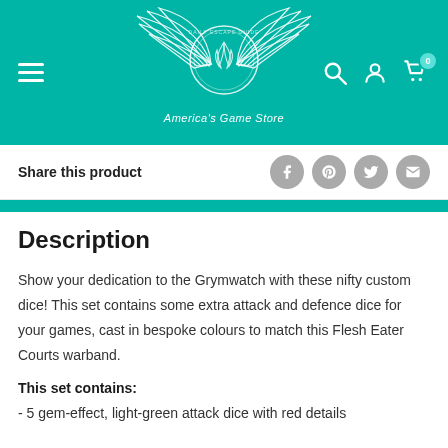[Figure (logo): America's Game Store logo with winged emblem on teal background header with hamburger menu, search, account, and cart icons]
Share this product
Description
Show your dedication to the Grymwatch with these nifty custom dice! This set contains some extra attack and defence dice for your games, cast in bespoke colours to match this Flesh Eater Courts warband.
This set contains:
- 5 gem-effect, light-green attack dice with red details